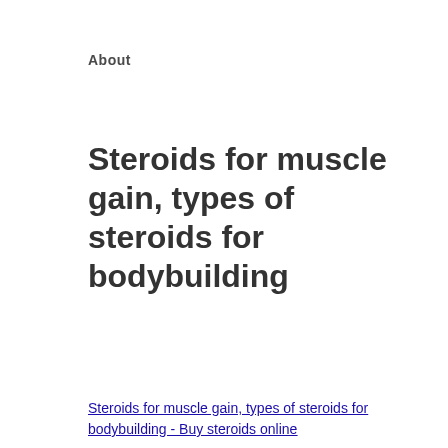About
Steroids for muscle gain, types of steroids for bodybuilding
Steroids for muscle gain, types of steroids for bodybuilding - Buy steroids online
[Figure (photo): Dark blurry image showing a muscular figure silhouette against a dark background, with product bottles visible at the bottom]